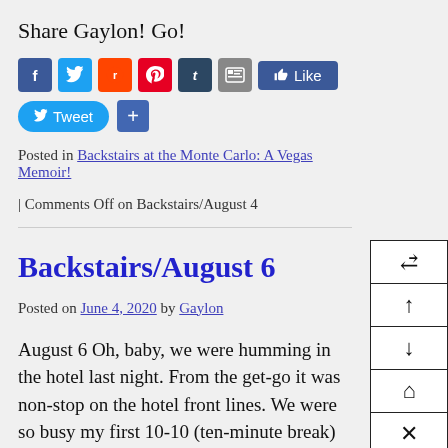Share Gaylon! Go!
[Figure (infographic): Social share buttons: Facebook, Twitter, Reddit, Pinterest, Tumblr, print, Like button, Tweet button, Share+ button]
Posted in Backstairs at the Monte Carlo: A Vegas Memoir!
| Comments Off on Backstairs/August 4
Backstairs/August 6
Posted on June 4, 2020 by Gaylon
August 6 Oh, baby, we were humming in the hotel last night. From the get-go it was non-stop on the hotel front lines. We were so busy my first 10-10 (ten-minute break) was delayed twice.